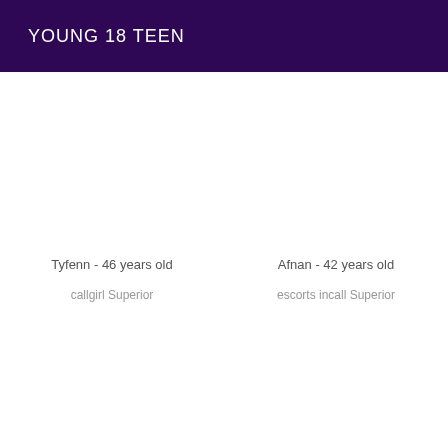YOUNG 18 TEEN
Tyfenn - 46 years old
callgirl Superior
Afnan - 42 years old
escorts incall Superior